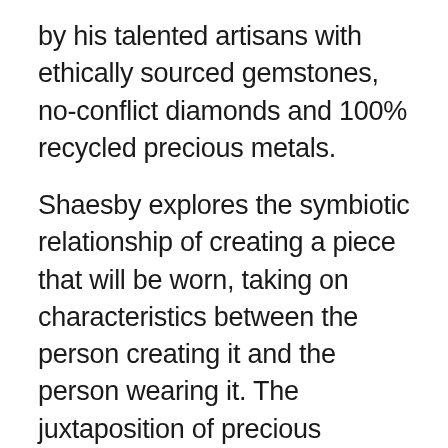by his talented artisans with ethically sourced gemstones, no-conflict diamonds and 100% recycled precious metals.
Shaesby explores the symbiotic relationship of creating a piece that will be worn, taking on characteristics between the person creating it and the person wearing it. The juxtaposition of precious gemstones and a hand-crafted sensibility results in collections and pieces that become wearable sculptures to incorporate into the individuals own style.
“One-of-a-kind enables you to